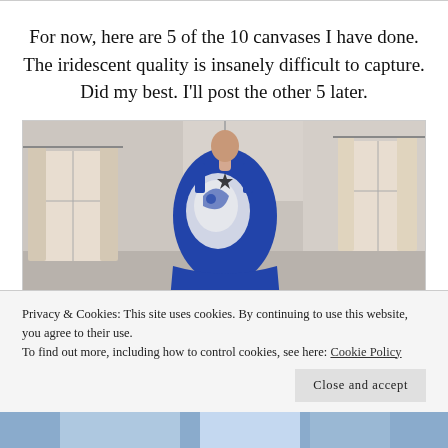For now, here are 5 of the 10 canvases I have done. The iridescent quality is insanely difficult to capture. Did my best. I'll post the other 5 later.
[Figure (photo): A dress form/mannequin wearing a blue and white sleeveless dress with artistic painted design, displayed in a room with curtained windows.]
Privacy & Cookies: This site uses cookies. By continuing to use this website, you agree to their use.
To find out more, including how to control cookies, see here: Cookie Policy